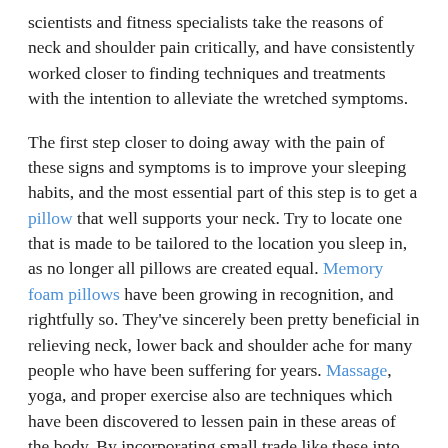scientists and fitness specialists take the reasons of neck and shoulder pain critically, and have consistently worked closer to finding techniques and treatments with the intention to alleviate the wretched symptoms.
The first step closer to doing away with the pain of these signs and symptoms is to improve your sleeping habits, and the most essential part of this step is to get a pillow that well supports your neck. Try to locate one that is made to be tailored to the location you sleep in, as no longer all pillows are created equal. Memory foam pillows have been growing in recognition, and rightfully so. They've sincerely been pretty beneficial in relieving neck, lower back and shoulder ache for many people who have been suffering for years. Massage, yoga, and proper exercise also are techniques which have been discovered to lessen pain in these areas of the body. By incorporating small trade like these into your life-style, you should have better chances of overcoming your illnesses.
If a fine visco-elastic pillow doesn't clear up your neck, lower back and shoulder ache, you may want to schedule